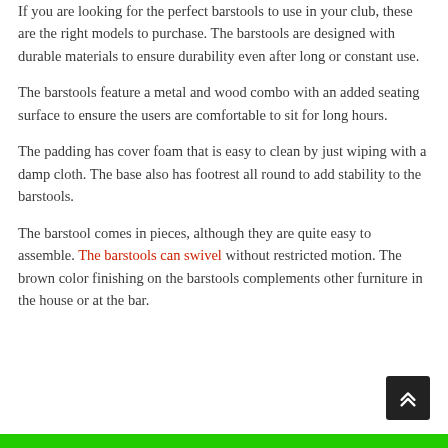If you are looking for the perfect barstools to use in your club, these are the right models to purchase. The barstools are designed with durable materials to ensure durability even after long or constant use.
The barstools feature a metal and wood combo with an added seating surface to ensure the users are comfortable to sit for long hours.
The padding has cover foam that is easy to clean by just wiping with a damp cloth. The base also has footrest all round to add stability to the barstools.
The barstool comes in pieces, although they are quite easy to assemble. The barstools can swivel without restricted motion. The brown color finishing on the barstools complements other furniture in the house or at the bar.